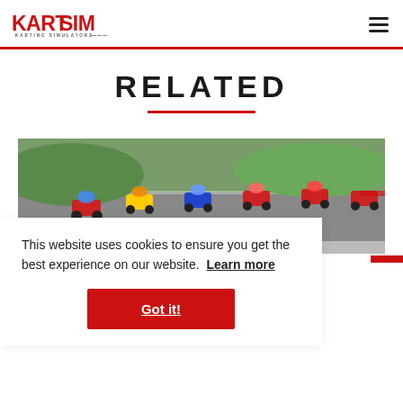KartSim - Karting Simulators
RELATED
[Figure (photo): Go-kart racing action photo showing multiple kart racers on a track]
This website uses cookies to ensure you get the best experience on our website. Learn more
Got it!